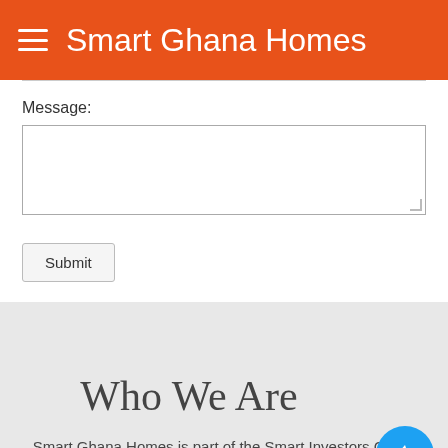Smart Ghana Homes
Message:
[Figure (screenshot): A textarea form input for message entry]
Submit
Who We Are
Smart Ghana Homes is part of the Smart Investors Group with interests in Estate Development, Property Management and...